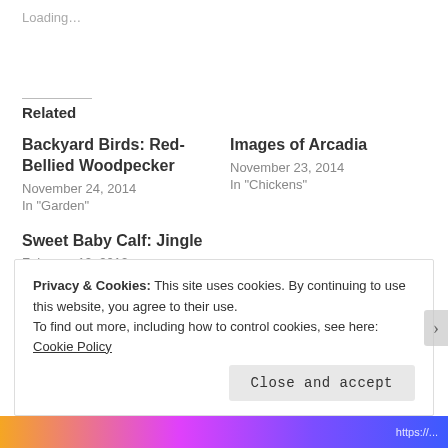Loading…
Related
Backyard Birds: Red-Bellied Woodpecker
November 24, 2014
In "Garden"
Images of Arcadia
November 23, 2014
In "Chickens"
Sweet Baby Calf: Jingle
February 12, 2012
In "Random Awesomeness"
Privacy & Cookies: This site uses cookies. By continuing to use this website, you agree to their use.
To find out more, including how to control cookies, see here: Cookie Policy
Close and accept